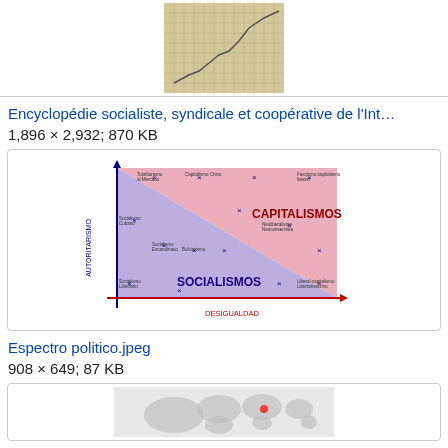[Figure (other): Scanned page from Encyclopédie socialiste showing a line graph on grid paper]
Encyclopédie socialiste, syndicale et coopérative de l'Int…
1,896 × 2,932; 870 KB
[Figure (other): Political spectrum chart in Spanish showing Capitalismos and Socialismos on axes of Autoritarismo and Desigualdad]
Espectro politico.jpeg
908 × 649; 87 KB
[Figure (map): World map, partially visible at bottom of page]